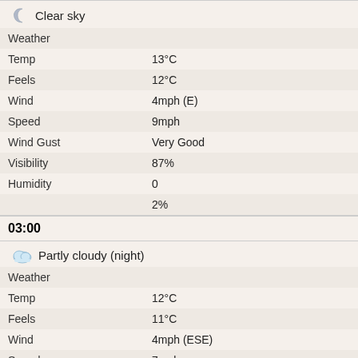| Field | Value |
| --- | --- |
| Weather | Clear sky |
| Temp | 13°C |
| Feels | 12°C |
| Wind | 4mph (E) |
| Speed | 9mph |
| Wind Gust | Very Good |
| Visibility | 87% |
| Humidity | 0 |
|  | 2% |
03:00
| Field | Value |
| --- | --- |
| Weather | Partly cloudy (night) |
| Temp | 12°C |
| Feels | 11°C |
| Wind | 4mph (ESE) |
| Speed | 7mph |
| Wind Gust | Good |
| Visibility | 89% |
| Humidity | 0 |
|  | 3% |
06:00
| Field | Value |
| --- | --- |
| Weather | Cloudy (Medium-Level) |
| Temp | 12°C |
| Feels | 11°C |
| Wind | 4mph (ESE) |